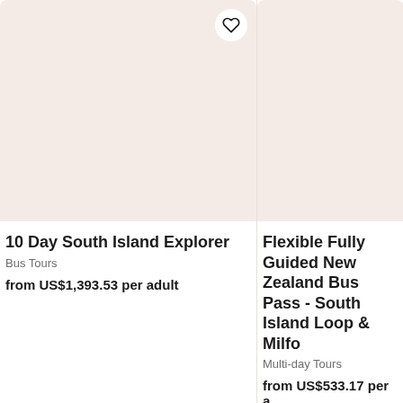[Figure (photo): Product card image placeholder with light pink/beige background for 10 Day South Island Explorer tour]
10 Day South Island Explorer
Bus Tours
from US$1,393.53 per adult
[Figure (photo): Product card image placeholder with light pink/beige background for Flexible Fully Guided New Zealand Bus Pass tour]
Flexible Fully Guided New Zealand Bus Pass - South Island Loop & Milford
Multi-day Tours
from US$533.17 per adult